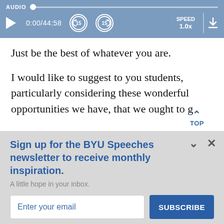[Figure (screenshot): Audio player bar showing: AUDIO label, progress track with dot at start, play button, time display 0:00/44:58, rewind 15s button, forward 15s button, SPEED 1.0x, download button]
Just be the best of whatever you are.
I would like to suggest to you students, particularly considering these wonderful opportunities we have, that we ought to g
Sign up for the BYU Speeches newsletter to receive monthly inspiration.
A little hope in your inbox.